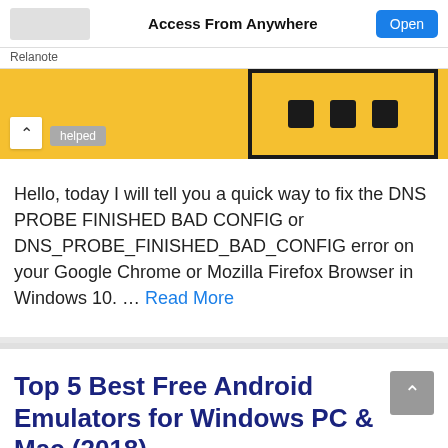Access From Anywhere | Open
Relanote
[Figure (screenshot): Yellow background image with a face/emoji illustration showing three dark rectangular eyes, with a collapse arrow button and a grey 'helped' pill button overlaid at the bottom left]
Hello, today I will tell you a quick way to fix the DNS PROBE FINISHED BAD CONFIG or DNS_PROBE_FINISHED_BAD_CONFIG error on your Google Chrome or Mozilla Firefox Browser in Windows 10. ... Read More
Top 5 Best Free Android Emulators for Windows PC & Mac (2018)